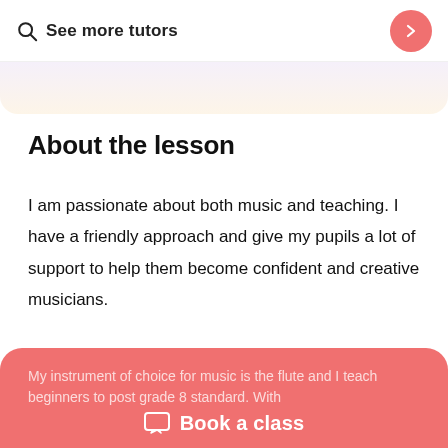See more tutors
About the lesson
I am passionate about both music and teaching. I have a friendly approach and give my pupils a lot of support to help them become confident and creative musicians.
- Which subject(s) do you teach?
My instrument of choice for music is the flute and I teach beginners to post grade 8 standard. With